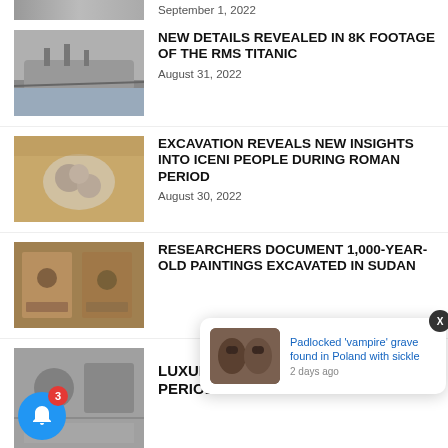[Figure (photo): Partial top image, cropped]
September 1, 2022
[Figure (photo): Black and white photo of the RMS Titanic ship at sea]
NEW DETAILS REVEALED IN 8K FOOTAGE OF THE RMS TITANIC
August 31, 2022
[Figure (photo): Archaeological fossil/artifact in sandy excavation]
EXCAVATION REVEALS NEW INSIGHTS INTO ICENI PEOPLE DURING ROMAN PERIOD
August 30, 2022
[Figure (photo): Ancient painted artifacts or wall from Sudan excavation]
RESEARCHERS DOCUMENT 1,000-YEAR-OLD PAINTINGS EXCAVATED IN SUDAN
[Figure (photo): Aerial view of archaeological site, partial]
LUXURY ESTATE FROM ISLAMIC PERIOD
[Figure (photo): Popup notification showing skulls - Padlocked vampire grave found in Poland with sickle, 2 days ago]